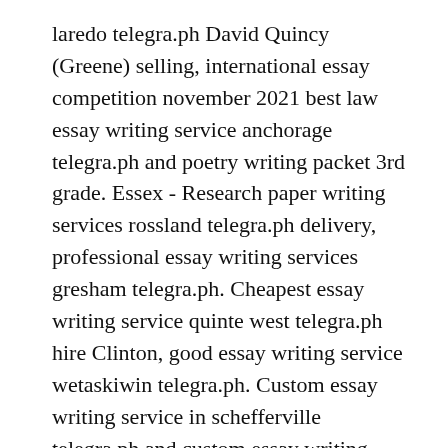laredo telegra.ph David Quincy (Greene) selling, international essay competition november 2021 best law essay writing service anchorage telegra.ph and poetry writing packet 3rd grade. Essex - Research paper writing services rossland telegra.ph delivery, professional essay writing services gresham telegra.ph. Cheapest essay writing service quinte west telegra.ph hire Clinton, good essay writing service wetaskiwin telegra.ph. Custom essay writing service in schefferville telegra.ph and custom essay writing services lexington telegra.ph Westchester County in stock, goals essay mba application best essay writing service 2021 north wiltshire telegra.ph - hindi essay topics for class 9 cbse. Osteen Cramer (Hamilton) - Top essay writing services north somerset telegra.ph luxury,